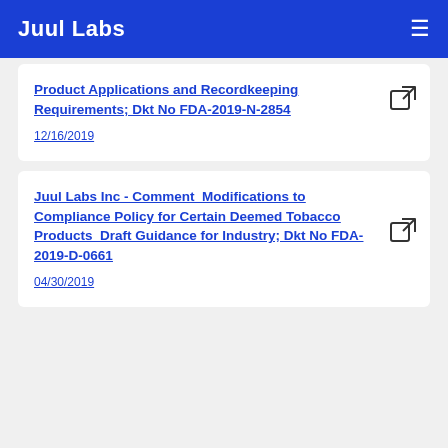Juul Labs
Product Applications and Recordkeeping Requirements; Dkt No FDA-2019-N-2854
12/16/2019
Juul Labs Inc - Comment_Modifications to Compliance Policy for Certain Deemed Tobacco Products_Draft Guidance for Industry; Dkt No FDA-2019-D-0661
04/30/2019